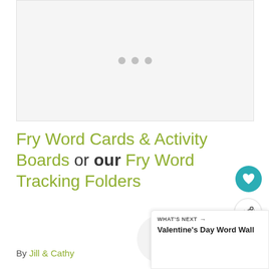[Figure (other): Image slideshow placeholder with three grey dots indicating a carousel/slider]
Fry Word Cards & Activity Boards or our Fry Word Tracking Folders
By Jill & Cathy